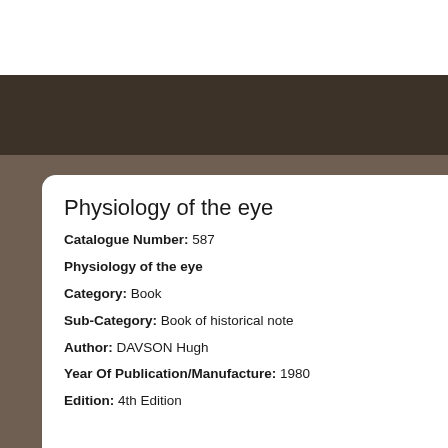Physiology of the eye
Catalogue Number: 587
Physiology of the eye
Category: Book
Sub-Category: Book of historical note
Author: DAVSON Hugh
Year Of Publication/Manufacture: 1980
Edition: 4th Edition